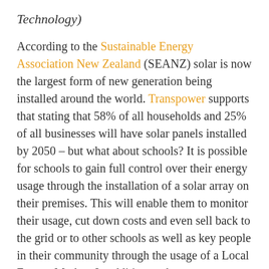Technology)
According to the Sustainable Energy Association New Zealand (SEANZ) solar is now the largest form of new generation being installed around the world. Transpower supports that stating that 58% of all households and 25% of all businesses will have solar panels installed by 2050 – but what about schools? It is possible for schools to gain full control over their energy usage through the installation of a solar array on their premises. This will enable them to monitor their usage, cut down costs and even sell back to the grid or to other schools as well as key people in their community through the usage of a Local Energy Market. In addition to these pros, students will learn about with renewable energy and its positive effects –